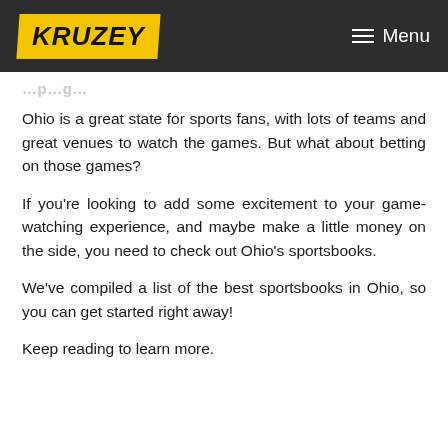KRUZEY | Menu
Ohio is a great state for sports fans, with lots of teams and great venues to watch the games. But what about betting on those games?
If you're looking to add some excitement to your game-watching experience, and maybe make a little money on the side, you need to check out Ohio's sportsbooks.
We've compiled a list of the best sportsbooks in Ohio, so you can get started right away!
Keep reading to learn more.